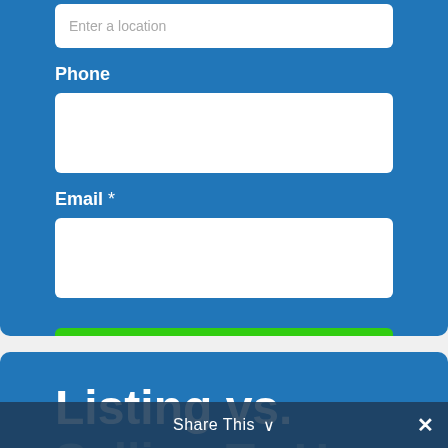Enter a location
Phone
Email *
GET MY FAIR CASH OFFER ››
Listing vs.
Selling To Us
Share This